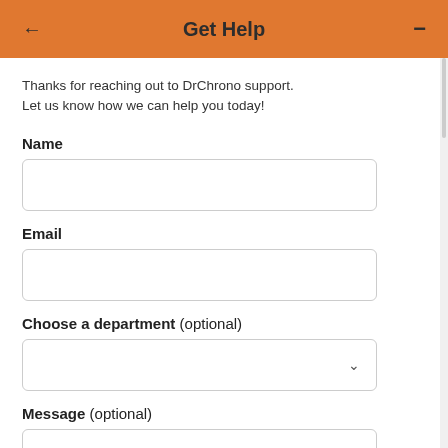← Get Help —
Thanks for reaching out to DrChrono support. Let us know how we can help you today!
Name
Email
Choose a department (optional)
Message (optional)